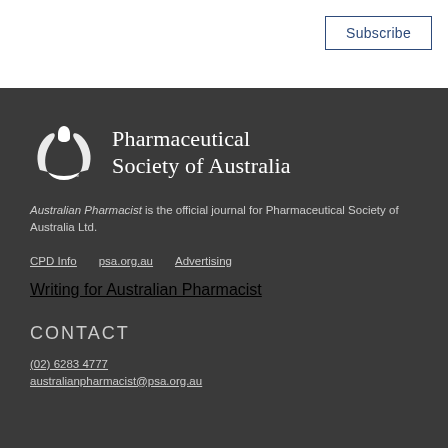Subscribe
[Figure (logo): Pharmaceutical Society of Australia logo — stylized mortar/pestle icon in white with trademark symbol, beside text 'Pharmaceutical Society of Australia' in white serif font]
Australian Pharmacist is the official journal for Pharmaceutical Society of Australia Ltd.
CPD Info   psa.org.au   Advertising
Writing for Australian Pharmacist
CONTACT
(02) 6283 4777
australianpharmacist@psa.org.au